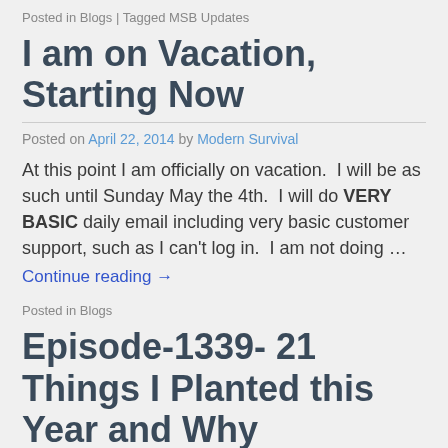Posted in Blogs | Tagged MSB Updates
I am on Vacation, Starting Now
Posted on April 22, 2014 by Modern Survival
At this point I am officially on vacation.  I will be as such until Sunday May the 4th.  I will do VERY BASIC daily email including very basic customer support, such as I can't log in.  I am not doing …
Continue reading →
Posted in Blogs
Episode-1339- 21 Things I Planted this Year and Why
Posted on April 22, 2014 by Modern Survival